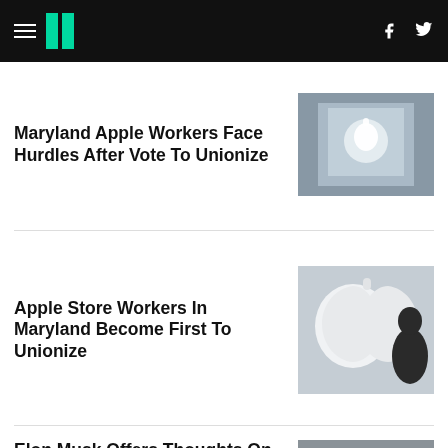HuffPost navigation
Maryland Apple Workers Face Hurdles After Vote To Unionize
[Figure (photo): Apple store sign with Apple logo on glass facade]
Apple Store Workers In Maryland Become First To Unionize
[Figure (photo): Large Apple logo sign with silhouette of person]
Elon Musk Offers Thoughts On Finances, Space Aliens In First Meeting With Twitter Staff
[Figure (photo): Elon Musk Twitter profile name tag reading Elon Musk @elonmu...]